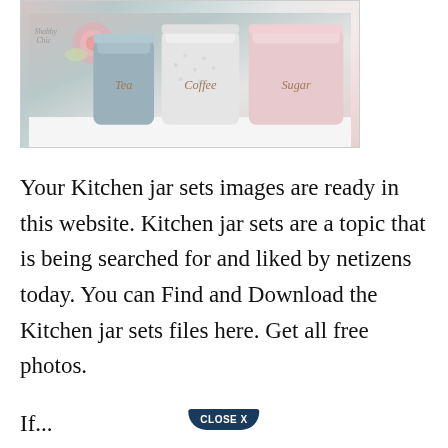[Figure (photo): Photo of decorative kitchen jar set with Tea (blue-grey), Coffee (white textured), and Sugar (pink) ceramic canisters with rose gold script labels. A pink rose is visible on the left. A 'Shabby Chic' brand card is partially visible.]
Your Kitchen jar sets images are ready in this website. Kitchen jar sets are a topic that is being searched for and liked by netizens today. You can Find and Download the Kitchen jar sets files here. Get all free photos.
[Figure (screenshot): Close X button overlay — dark navy pentagon/shield shaped button with 'CLOSE X' text in white]
If...